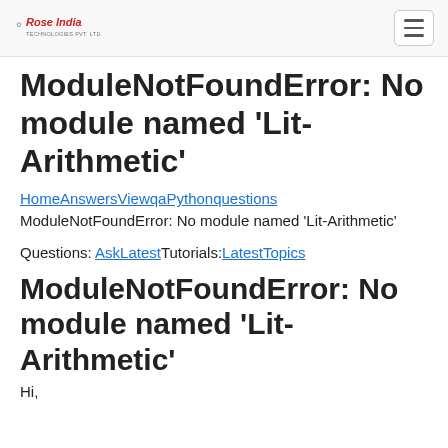Rose India Technologies Pvt. Ltd.
ModuleNotFoundError: No module named 'Lit-Arithmetic'
HomeAnswersViewqaPythonquestions
ModuleNotFoundError: No module named 'Lit-Arithmetic'
Questions: AskLatestTutorials:LatestTopics
ModuleNotFoundError: No module named 'Lit-Arithmetic'
Hi,